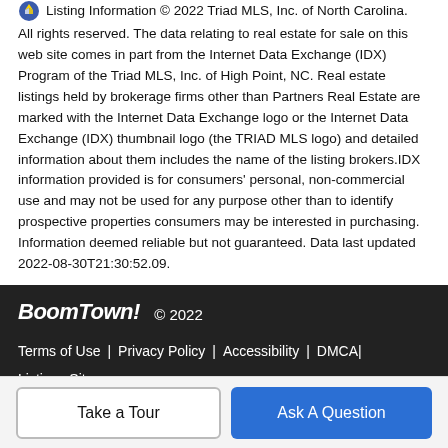Listing Information © 2022 Triad MLS, Inc. of North Carolina. All rights reserved. The data relating to real estate for sale on this web site comes in part from the Internet Data Exchange (IDX) Program of the Triad MLS, Inc. of High Point, NC. Real estate listings held by brokerage firms other than Partners Real Estate are marked with the Internet Data Exchange logo or the Internet Data Exchange (IDX) thumbnail logo (the TRIAD MLS logo) and detailed information about them includes the name of the listing brokers.IDX information provided is for consumers' personal, non-commercial use and may not be used for any purpose other than to identify prospective properties consumers may be interested in purchasing. Information deemed reliable but not guaranteed. Data last updated 2022-08-30T21:30:52.09.
BoomTown! © 2022
Terms of Use | Privacy Policy | Accessibility | DMCA | Listings Sitemap
Take a Tour
Ask A Question